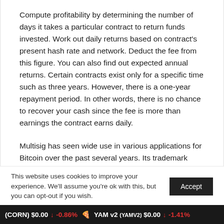Compute profitability by determining the number of days it takes a particular contract to return funds invested. Work out daily returns based on contract's present hash rate and network. Deduct the fee from this figure. You can also find out expected annual returns. Certain contracts exist only for a specific time such as three years. However, there is a one-year repayment period. In other words, there is no chance to recover your cash since the fee is more than earnings the contract earns daily.
Multisig has seen wide use in various applications for Bitcoin over the past several years. Its trademark
This website uses cookies to improve your experience. We'll assume you're ok with this, but you can opt-out if you wish.
(CORN) $0.00 ↓ -0.86% 🍕 YAM v2 (YAMV2) $0.00 ↓ -1.41%